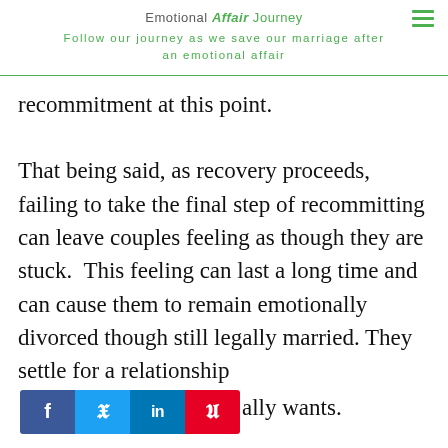Emotional Affair Journey
Follow our journey as we save our marriage after an emotional affair
recommitment at this point.

That being said, as recovery proceeds, failing to take the final step of recommitting can leave couples feeling as though they are stuck.  This feeling can last a long time and can cause them to remain emotionally divorced though still legally married. They settle for a relationship [social buttons] ally wants.